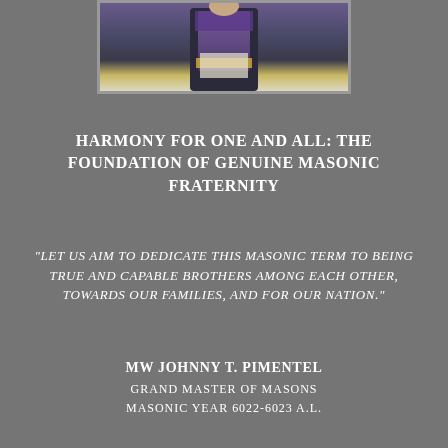[Figure (photo): A person wearing Masonic regalia including a dark suit with purple and gold sash/apron with fringe, photographed from the torso up]
HARMONY FOR ONE AND ALL: THE FOUNDATION OF GENUINE MASONIC FRATERNITY
"LET US AIM TO DEDICATE THIS MASONIC TERM TO BEING TRUE AND CAPABLE BROTHERS AMONG EACH OTHER, TOWARDS OUR FAMILIES, AND FOR OUR NATION."
MW JOHNNY T. PIMENTEL
GRAND MASTER OF MASONS
MASONIC YEAR 6022-6023 A.L.